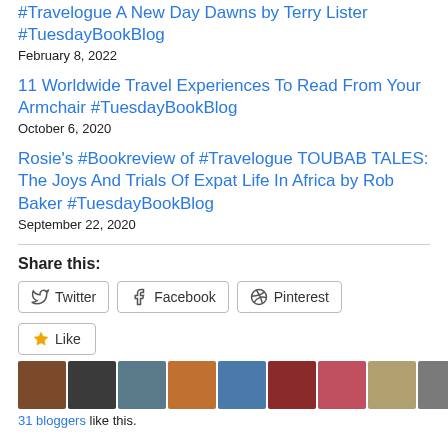#Travelogue A New Day Dawns by Terry Lister #TuesdayBookBlog
February 8, 2022
11 Worldwide Travel Experiences To Read From Your Armchair #TuesdayBookBlog
October 6, 2020
Rosie's #Bookreview of #Travelogue TOUBAB TALES: The Joys And Trials Of Expat Life In Africa by Rob Baker #TuesdayBookBlog
September 22, 2020
Share this:
Twitter  Facebook  Pinterest
Like  31 bloggers like this.